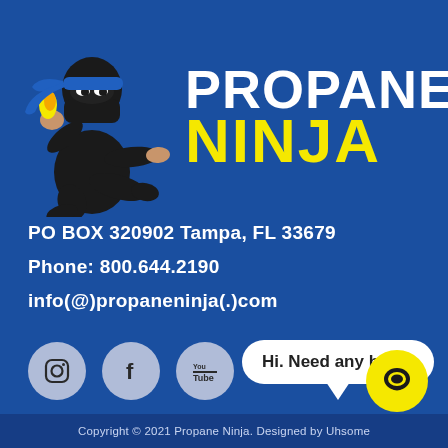[Figure (logo): Propane Ninja logo with cartoon ninja mascot holding a flame, wearing black ninja outfit with blue headband. Text reads PROPANE NINJA with PROPANE in white and NINJA in yellow.]
PO BOX 320902 Tampa, FL 33679
Phone: 800.644.2190
info(@)propaneninja(.)com
[Figure (illustration): Social media icons: Instagram, Facebook, YouTube - circular light blue/grey buttons]
[Figure (illustration): Chat widget: speech bubble saying 'Hi. Need any help?' with a yellow circular chat button below]
Copyright © 2021 Propane Ninja. Designed by Uhsome